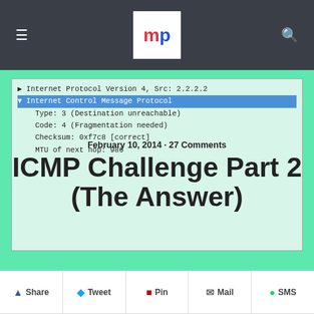mp — navigation header with hamburger menu and search icon
[Figure (screenshot): Wireshark packet detail pane showing Internet Protocol Version 4 and Internet Control Message Protocol fields with Type 3, Code 4, Checksum 0xf7c8, MTU 986]
February 10, 2014 · 27 Comments
ICMP Challenge Part 2 (The Answer)
Share  Tweet  Pin  Mail  SMS
[Figure (screenshot): Wireshark packet detail showing Internet Protocol Version 4, Src: 2.2.2.2; Internet Control Message Protocol; Type: 3 (Destination unreachable); Code: 4 (Fragmentation needed); Checksum: 0xf7c8 [correct]; MTU of next hop: 986]